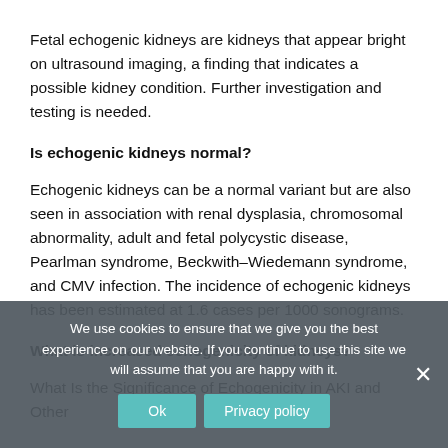Fetal echogenic kidneys are kidneys that appear bright on ultrasound imaging, a finding that indicates a possible kidney condition. Further investigation and testing is needed.
Is echogenic kidneys normal?
Echogenic kidneys can be a normal variant but are also seen in association with renal dysplasia, chromosomal abnormality, adult and fetal polycystic disease, Pearlman syndrome, Beckwith–Wiedemann syndrome, and CMV infection. The incidence of echogenic kidneys has been estimated at 1.6 cases per 1000 sonograms.
What is increased echogenicity of kidneys?
What Is the Significance of Echogenicity in AKI and Other Kidney Diseases?
We use cookies to ensure that we give you the best experience on our website. If you continue to use this site we will assume that you are happy with it.